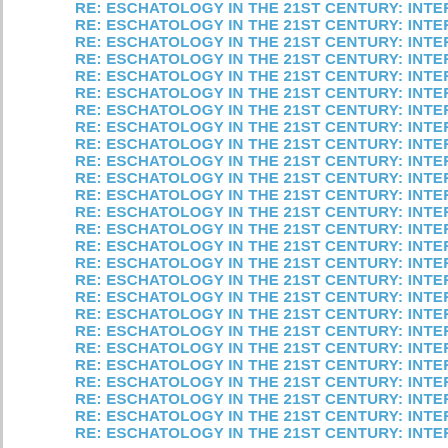RE: ESCHATOLOGY IN THE 21ST CENTURY: INTERFAITH AND COMP
RE: ESCHATOLOGY IN THE 21ST CENTURY: INTERFAITH AND COMP
RE: ESCHATOLOGY IN THE 21ST CENTURY: INTERFAITH AND COMP
RE: ESCHATOLOGY IN THE 21ST CENTURY: INTERFAITH AND COMP
RE: ESCHATOLOGY IN THE 21ST CENTURY: INTERFAITH AND COMP
RE: ESCHATOLOGY IN THE 21ST CENTURY: INTERFAITH AND COMP
RE: ESCHATOLOGY IN THE 21ST CENTURY: INTERFAITH AND COMP
RE: ESCHATOLOGY IN THE 21ST CENTURY: INTERFAITH AND COMP
RE: ESCHATOLOGY IN THE 21ST CENTURY: INTERFAITH AND COMP
RE: ESCHATOLOGY IN THE 21ST CENTURY: INTERFAITH AND COMP
RE: ESCHATOLOGY IN THE 21ST CENTURY: INTERFAITH AND COMP
RE: ESCHATOLOGY IN THE 21ST CENTURY: INTERFAITH AND COMP
RE: ESCHATOLOGY IN THE 21ST CENTURY: INTERFAITH AND COMP
RE: ESCHATOLOGY IN THE 21ST CENTURY: INTERFAITH AND COMP
RE: ESCHATOLOGY IN THE 21ST CENTURY: INTERFAITH AND COMP
RE: ESCHATOLOGY IN THE 21ST CENTURY: INTERFAITH AND COMP
RE: ESCHATOLOGY IN THE 21ST CENTURY: INTERFAITH AND COMP
RE: ESCHATOLOGY IN THE 21ST CENTURY: INTERFAITH AND COMP
RE: ESCHATOLOGY IN THE 21ST CENTURY: INTERFAITH AND COMP
RE: ESCHATOLOGY IN THE 21ST CENTURY: INTERFAITH AND COMP
RE: ESCHATOLOGY IN THE 21ST CENTURY: INTERFAITH AND COMP
RE: ESCHATOLOGY IN THE 21ST CENTURY: INTERFAITH AND COMP
RE: ESCHATOLOGY IN THE 21ST CENTURY: INTERFAITH AND COMP
RE: ESCHATOLOGY IN THE 21ST CENTURY: INTERFAITH AND COMP
RE: ESCHATOLOGY IN THE 21ST CENTURY: INTERFAITH AND COMP
RE: ESCHATOLOGY IN THE 21ST CENTURY: INTERFAITH AND COMP